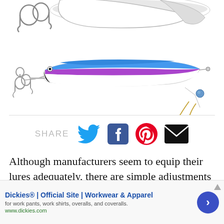[Figure (photo): Two fishing lures on white background. Top lure is partially visible with hooks, silver/white/black coloring. Middle lure is a blue and purple minnow-style bait with treble hooks. Bottom right shows another small hook and bead component.]
[Figure (infographic): Social share bar with SHARE label and icons for Twitter (blue bird), Facebook (blue square), Pinterest (red circle with P), and email (black envelope).]
Although manufacturers seem to equip their lures adequately, there are simple adjustments anglers can
[Figure (screenshot): Advertisement banner for Dickies® | Official Site | Workwear & Apparel. Text: 'for work pants, work shirts, overalls, and coveralls. www.dickies.com'. Blue circular arrow button on right.]